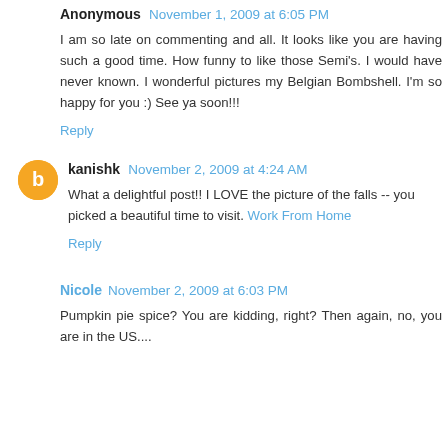Anonymous  November 1, 2009 at 6:05 PM
I am so late on commenting and all. It looks like you are having such a good time. How funny to like those Semi's. I would have never known. I wonderful pictures my Belgian Bombshell. I'm so happy for you :) See ya soon!!!
Reply
kanishk  November 2, 2009 at 4:24 AM
What a delightful post!! I LOVE the picture of the falls -- you picked a beautiful time to visit. Work From Home
Reply
Nicole  November 2, 2009 at 6:03 PM
Pumpkin pie spice? You are kidding, right? Then again, no, you are in the US....